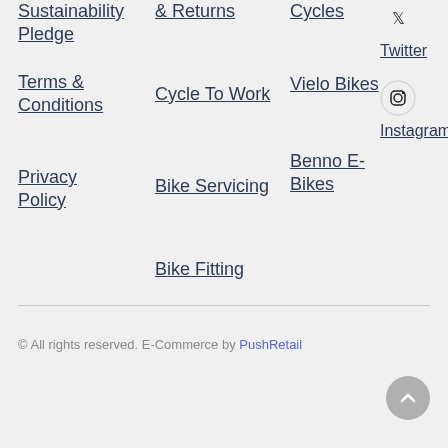Sustainability Pledge
Terms & Conditions
Privacy Policy
& Returns
Cycle To Work
Bike Servicing
Bike Fitting
Cycles
Vielo Bikes
Benno E-Bikes
Twitter
Instagram
© All rights reserved. E-Commerce by PushRetail